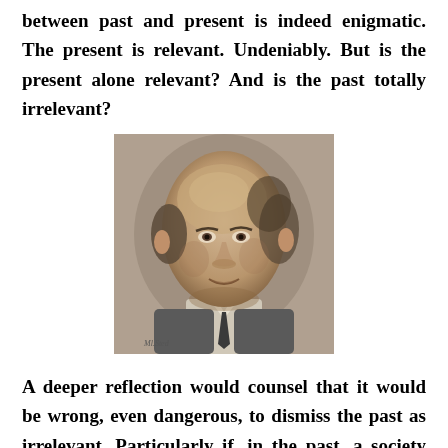between past and present is indeed enigmatic. The present is relevant. Undeniably. But is the present alone relevant? And is the past totally irrelevant?
[Figure (photo): Black and white charcoal or pencil portrait of a middle-aged bald man wearing a suit and tie, facing slightly right, with a subtle smile.]
A deeper reflection would counsel that it would be wrong, even dangerous, to dismiss the past as irrelevant. Particularly if, in the past, a society had